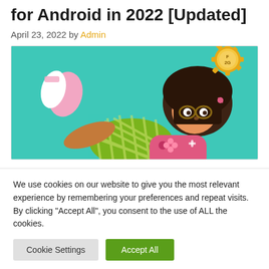for Android in 2022 [Updated]
April 23, 2022 by Admin
[Figure (illustration): Illustration of a cartoon girl with dark hair lying down and holding a pink game controller, on a teal/green background. A gear-shaped logo badge appears in the upper right corner.]
We use cookies on our website to give you the most relevant experience by remembering your preferences and repeat visits. By clicking “Accept All”, you consent to the use of ALL the cookies.